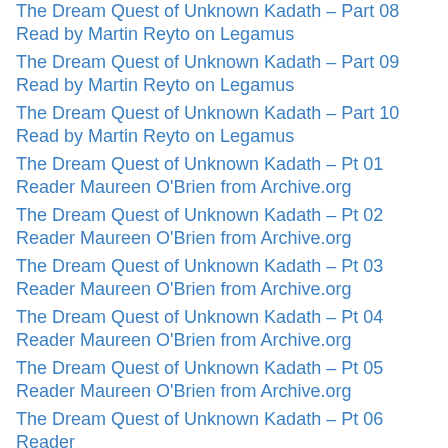The Dream Quest of Unknown Kadath – Part 08 Read by Martin Reyto on Legamus
The Dream Quest of Unknown Kadath – Part 09 Read by Martin Reyto on Legamus
The Dream Quest of Unknown Kadath – Part 10 Read by Martin Reyto on Legamus
The Dream Quest of Unknown Kadath – Pt 01 Reader Maureen O'Brien from Archive.org
The Dream Quest of Unknown Kadath – Pt 02 Reader Maureen O'Brien from Archive.org
The Dream Quest of Unknown Kadath – Pt 03 Reader Maureen O'Brien from Archive.org
The Dream Quest of Unknown Kadath – Pt 04 Reader Maureen O'Brien from Archive.org
The Dream Quest of Unknown Kadath – Pt 05 Reader Maureen O'Brien from Archive.org
The Dream Quest of Unknown Kadath – Pt 06 Reader